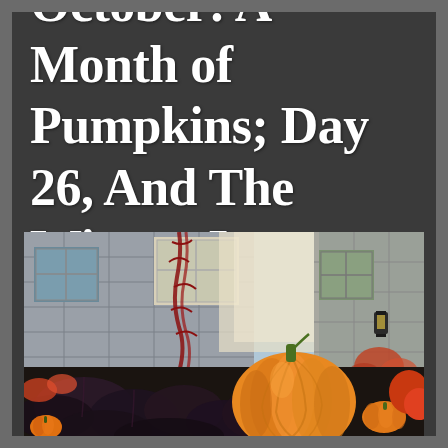October: A Month of Pumpkins; Day 26, And The Winner Is
[Figure (photo): Outdoor autumn scene in front of a stone building with windows covered in red vines. In the foreground is a large orange pumpkin surrounded by dark purple/black ornamental cabbage leaves, colorful flowers and small pumpkins. A lantern is visible on the right side near the building entrance.]